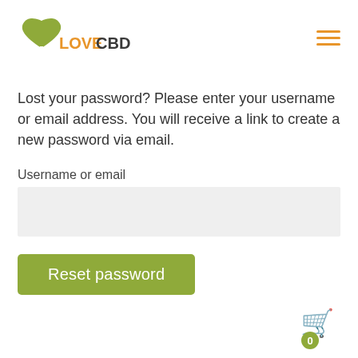[Figure (logo): Love CBD logo with green heart icon and orange 'LOVE' text and dark 'CBD' text]
[Figure (other): Hamburger menu icon (three orange horizontal lines)]
Lost your password? Please enter your username or email address. You will receive a link to create a new password via email.
Username or email
[Figure (other): Text input field (light gray background, empty)]
[Figure (other): Green 'Reset password' button]
[Figure (other): Shopping cart icon with green badge showing 0]